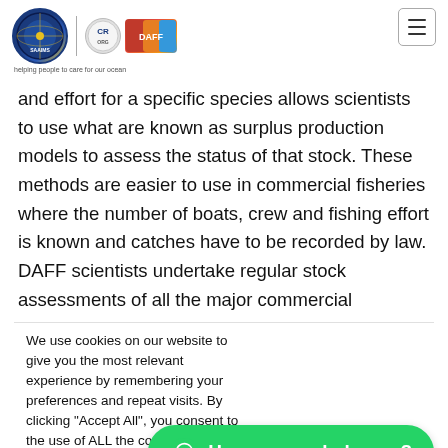SAAIMS / DAFF website header with logos and hamburger menu
and effort for a specific species allows scientists to use what are known as surplus production models to assess the status of that stock. These methods are easier to use in commercial fisheries where the number of boats, crew and fishing effort is known and catches have to be recorded by law. DAFF scientists undertake regular stock assessments of all the major commercial
We use cookies on our website to give you the most relevant experience by remembering your preferences and repeat visits. By clicking "Accept All", you consent to the use of ALL the cookie Settings" to provide a
How can we help you?